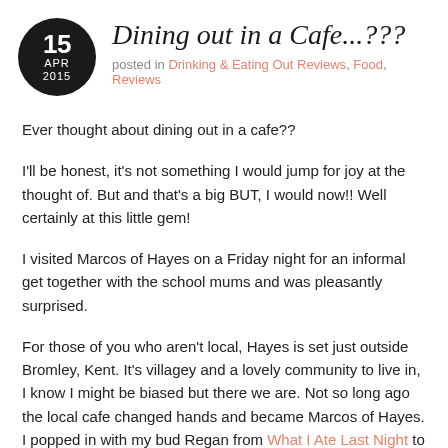Dining out in a Cafe...???
posted in Drinking & Eating Out Reviews, Food, Reviews
Ever thought about dining out in a cafe??
I'll be honest, it's not something I would jump for joy at the thought of. But and that's a big BUT, I would now!! Well certainly at this little gem!
I visited Marcos of Hayes on a Friday night for an informal get together with the school mums and was pleasantly surprised.
For those of you who aren't local, Hayes is set just outside Bromley, Kent. It's villagey and a lovely community to live in, I know I might be biased but there we are. Not so long ago the local cafe changed hands and became Marcos of Hayes. I popped in with my bud Regan from What I Ate Last Night to sample cake and coffee (which was gorgeous by the way!) and met the new owner; Marco (funnily enough!). The cafe has been given a makeover and has the mixture